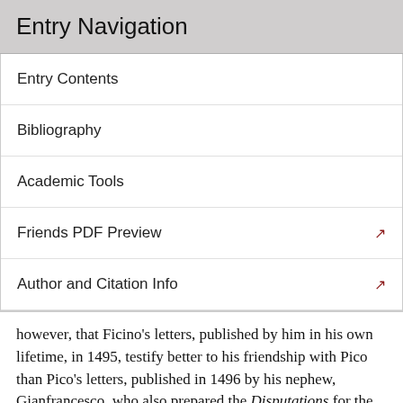Entry Navigation
Entry Contents
Bibliography
Academic Tools
Friends PDF Preview
Author and Citation Info
however, that Ficino's letters, published by him in his own lifetime, in 1495, testify better to his friendship with Pico than Pico's letters, published in 1496 by his nephew, Gianfrancesco, who also prepared the Disputations for the press in that same year. A close reading of both epistolaries suggests that the younger Pico—who was at least as close to Savonarola as his uncle—intervened to make the elder Pico's letters, as they appeared in the collected works that the nephew edited in 1496, underwrite the pious Life that introduces the whole collection.